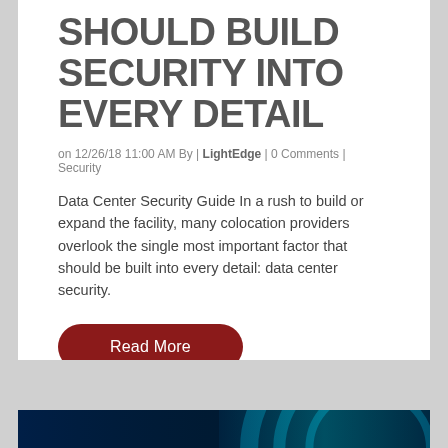SHOULD BUILD SECURITY INTO EVERY DETAIL
on 12/26/18 11:00 AM By | LightEdge | 0 Comments | Security
Data Center Security Guide In a rush to build or expand the facility, many colocation providers overlook the single most important factor that should be built into every detail: data center security.
Read More
[Figure (photo): Teal and blue digital security circuit/ring graphic on dark background]